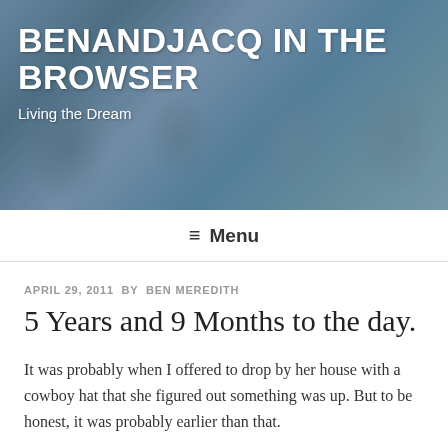[Figure (photo): Header photo of a family wearing UNC Carolina blue shirts and gear, smiling at a sports event]
BENANDJACQ IN THE BROWSER
Living the Dream
≡ Menu
APRIL 29, 2011 BY BEN MEREDITH
5 Years and 9 Months to the day.
It was probably when I offered to drop by her house with a cowboy hat that she figured out something was up. But to be honest, it was probably earlier than that.
We were at a rodeo in Wyoming (I'm pretty sure that's all they do in Wyoming–Still-life photography, pottery, and rodeos), with a bunch of friends. I had just met Jacqueline,